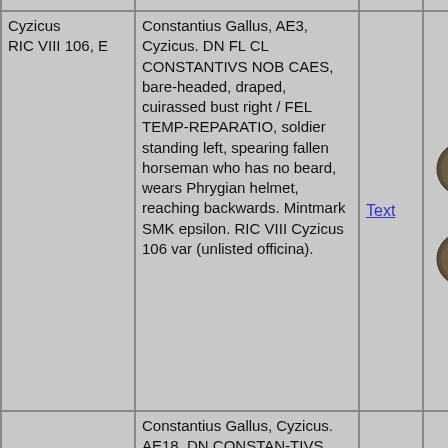| Reference | Description | Link | Image |
| --- | --- | --- | --- |
|  | var (unlisted officina). |  |  |
| Cyzicus RIC VIII 106, E | Constantius Gallus, AE3, Cyzicus. DN FL CL CONSTANTIVS NOB CAES, bare-headed, draped, cuirassed bust right / FEL TEMP-REPARATIO, soldier standing left, spearing fallen horseman who has no beard, wears Phrygian helmet, reaching backwards. Mintmark SMK epsilon. RIC VIII Cyzicus 106 var (unlisted officina). | Text | [coin images] |
|  | Constantius Gallus, Cyzicus. AE18. DN CONSTAN-TIVS NOB CS, bare-headed, draped, cuirassed bust right / FEL TEMP- |  | [coin images] |